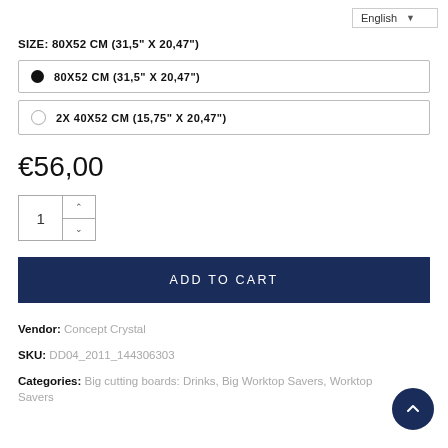English ▼
SIZE: 80X52 CM (31,5" X 20,47")
● 80X52 CM (31,5" X 20,47")
○ 2X 40X52 CM (15,75" X 20,47")
€56,00
1
ADD TO CART
Vendor: Concept Crystal
SKU: DD04_2011_144306303
Categories: Big cutting boards: Drinks, Big Worktop Savers, Worktop Savers